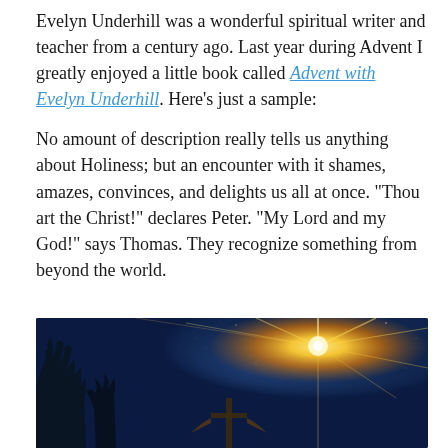Evelyn Underhill was a wonderful spiritual writer and teacher from a century ago. Last year during Advent I greatly enjoyed a little book called Advent with Evelyn Underhill. Here's just a sample:
No amount of description really tells us anything about Holiness; but an encounter with it shames, amazes, convinces, and delights us all at once. “Thou art the Christ!” declares Peter. “My Lord and my God!” says Thomas. They recognize something from beyond the world.
[Figure (photo): A nighttime scene showing a bright star or light radiating beams against a dark blue starry sky, with bare tree branches and what appears to be a wooden cross or structure in the lower portion of the image.]